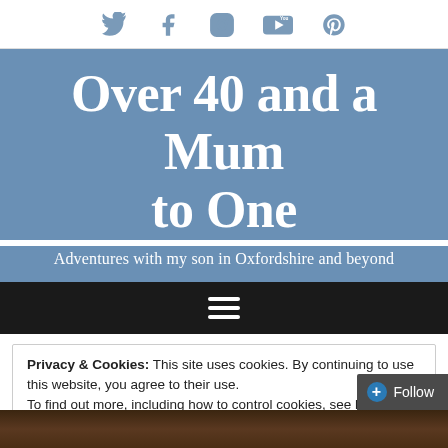[Social icons: Twitter, Facebook, Instagram, YouTube, Pinterest]
Over 40 and a Mum to One
Adventures with my son in Oxfordshire and beyond
[Figure (other): Hamburger menu icon (three horizontal white lines on black background)]
Privacy & Cookies: This site uses cookies. By continuing to use this website, you agree to their use.
To find out more, including how to control cookies, see here: Cookie Policy
[Figure (screenshot): Close and accept button and Follow button at bottom of cookie notice]